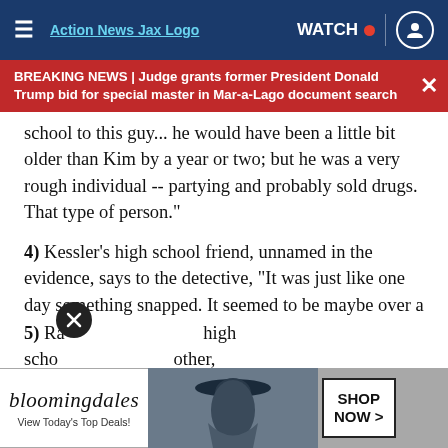≡  Action News Jax Logo  WATCH  [user icon]
BREAKING NEWS | Judge grants former President Donald Trump bid for special master in Mar-a-Lago document search
school to this guy... he would have been a little bit older than Kim by a year or two; but he was a very rough individual -- partying and probably sold drugs. That type of person."
4) Kessler's high school friend, unnamed in the evidence, says to the detective, "It was just like one day something snapped. It seemed to be maybe over a summer break, if I remember correctly, because it was like, one school year was great and then the next one she was just this different person."
5) Ra... high scho... other,
[Figure (screenshot): Bloomingdale's advertisement banner with logo, tagline 'View Today's Top Deals!', woman in hat photo, and 'SHOP NOW >' button]